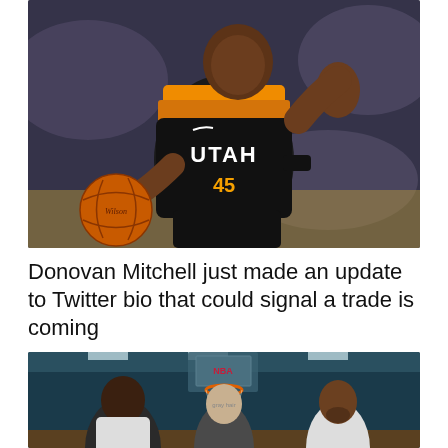[Figure (photo): Basketball player wearing Utah Jazz #45 jersey (Donovan Mitchell) dribbling with his right hand raised, holding a Wilson basketball, in a dark arena with crowd in background]
Donovan Mitchell just made an update to Twitter bio that could signal a trade is coming
[Figure (photo): Three people standing on an indoor basketball court in front of an NBA hoop — a large man on the left in a white shirt, an older gray-haired man in the center, and a man with a beard on the right]